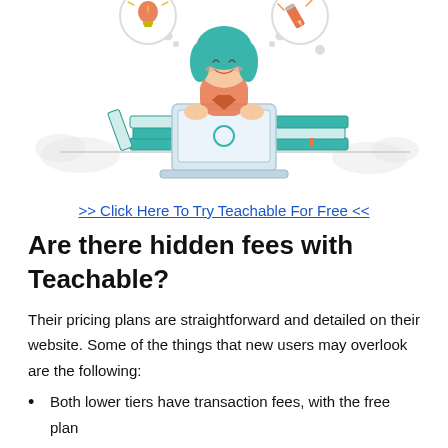[Figure (illustration): Illustration of a woman with teal hair sitting at a laptop, with stacks of books on either side. Thought bubbles show a lightbulb and a pencil icon.]
>> Click Here To Try Teachable For Free <<
Are there hidden fees with Teachable?
Their pricing plans are straightforward and detailed on their website. Some of the things that new users may overlook are the following:
Both lower tiers have transaction fees, with the free plan